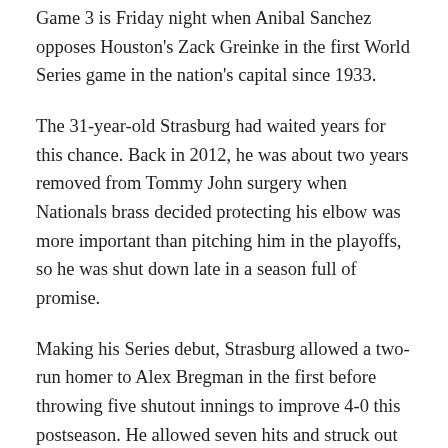Game 3 is Friday night when Anibal Sanchez opposes Houston's Zack Greinke in the first World Series game in the nation's capital since 1933.
The 31-year-old Strasburg had waited years for this chance. Back in 2012, he was about two years removed from Tommy John surgery when Nationals brass decided protecting his elbow was more important than pitching him in the playoffs, so he was shut down late in a season full of promise.
Making his Series debut, Strasburg allowed a two-run homer to Alex Bregman in the first before throwing five shutout innings to improve 4-0 this postseason. He allowed seven hits and struck out seven.
Verlander, so good in the regular season, fell to 0-5 in